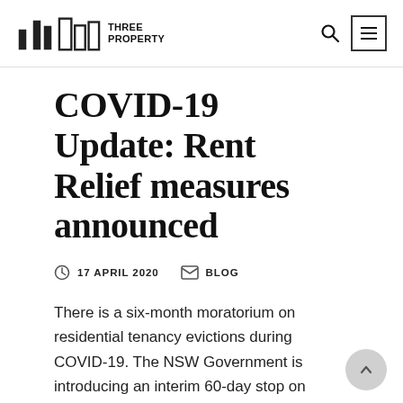THREE PROPERTY
COVID-19 Update: Rent Relief measures announced
17 APRIL 2020   BLOG
There is a six-month moratorium on residential tenancy evictions during COVID-19. The NSW Government is introducing an interim 60-day stop on